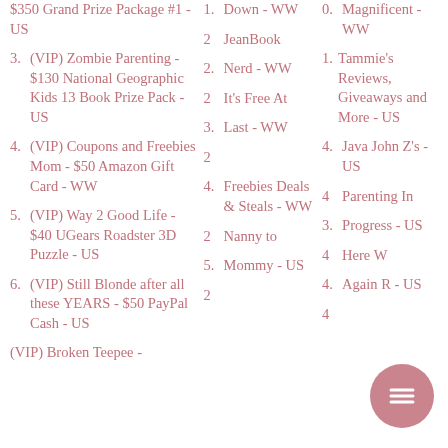$350 Grand Prize Package #1 - US
3. (VIP) Zombie Parenting - $130 National Geographic Kids 13 Book Prize Pack - US
4. (VIP) Coupons and Freebies Mom - $50 Amazon Gift Card - WW
5. (VIP) Way 2 Good Life - $40 UGears Roadster 3D Puzzle - US
6. (VIP) Still Blonde after all these YEARS - $50 PayPal Cash - US
(VIP) Broken Teepee -
1. Down - WW
2 JeanBook
2. Nerd - WW
2 It's Free At
3. Last - WW
2 Freebies Deals & Steals - WW
4. Freebies Deals & Steals - WW
2 Nanny to
5. Mommy - US
2
0. Magnificent - WW
Tammie's Reviews, Giveaways and More - US
4. Java John Z's - US
4 Parenting In
3. Progress - US
4 Here W Again R - US
4. Again R - US
4